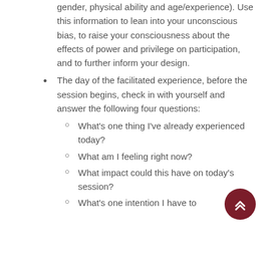gender, physical ability and age/experience). Use this information to lean into your unconscious bias, to raise your consciousness about the effects of power and privilege on participation, and to further inform your design.
The day of the facilitated experience, before the session begins, check in with yourself and answer the following four questions:
What's one thing I've already experienced today?
What am I feeling right now?
What impact could this have on today's session?
What's one intention I have to